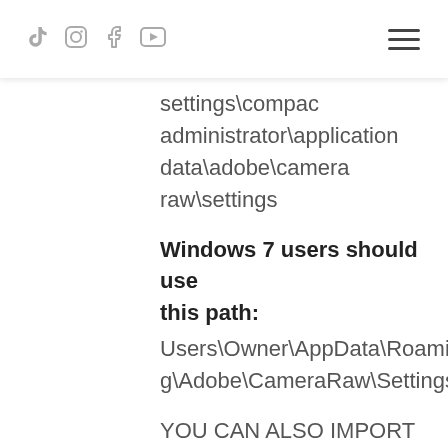TikTok Instagram Facebook YouTube [hamburger menu]
settings\compac administrator\application data\adobe\camera raw\settings
Windows 7 users should use this path:
Users\Owner\AppData\Roaming\Adobe\CameraRaw\Settings)
YOU CAN ALSO IMPORT THEM DIRECTLY TO YOUR PRESETS FOLDER IN LIGHTROOM INSTEAD OF PUTTING THEM INTO THOSE FOLDERS!